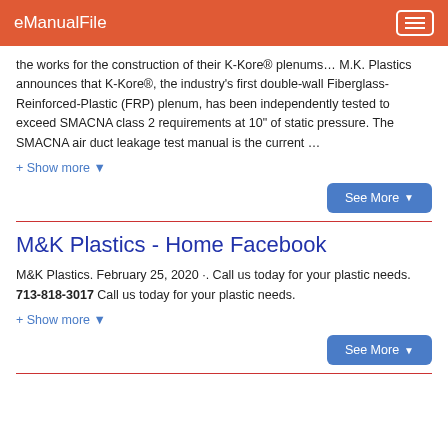eManualFile
the works for the construction of their K-Kore® plenums… M.K. Plastics announces that K-Kore®, the industry's first double-wall Fiberglass-Reinforced-Plastic (FRP) plenum, has been independently tested to exceed SMACNA class 2 requirements at 10" of static pressure. The SMACNA air duct leakage test manual is the current …
+ Show more ▼
See More ▼
M&K Plastics - Home Facebook
M&K Plastics. February 25, 2020 ·. Call us today for your plastic needs. 713-818-3017 Call us today for your plastic needs.
+ Show more ▼
See More ▼